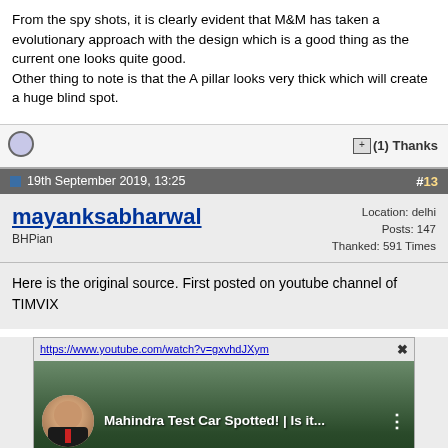From the spy shots, it is clearly evident that M&M has taken a evolutionary approach with the design which is a good thing as the current one looks quite good. Other thing to note is that the A pillar looks very thick which will create a huge blind spot.
(1) Thanks
19th September 2019, 13:25  #13
mayanksabharwal
BHPian
Location: delhi
Posts: 147
Thanked: 591 Times
Here is the original source. First posted on youtube channel of TIMVIX
[Figure (screenshot): Embedded YouTube video thumbnail showing 'Mahindra Test Car Spotted! | Is it...' with a circular avatar of a person in a suit and a street scene background]